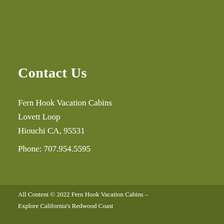Contact Us
Fern Hook Vacation Cabins
Lovett Loop
Hiouchi CA, 95531
Phone: 707.954.5595
All Content © 2022 Fern Hook Vacation Cabins – Explore California's Redwood Coast